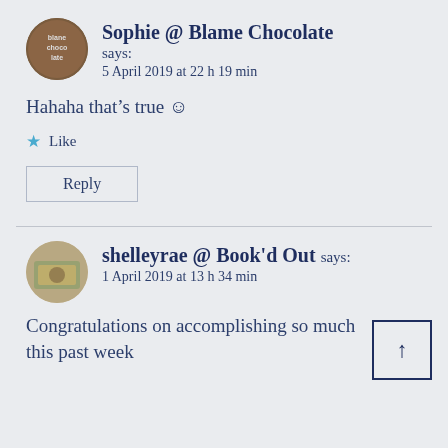Sophie @ Blame Chocolate says: 5 April 2019 at 22 h 19 min
Hahaha that's true ☺
Like
Reply
shelleyrae @ Book'd Out says: 1 April 2019 at 13 h 34 min
Congratulations on accomplishing so much this past week